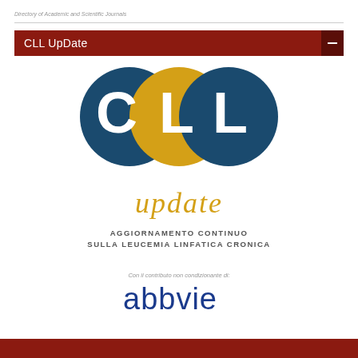Directory of Academic and Scientific Journals
[Figure (logo): CLL Update journal logo — three overlapping circles in dark blue and gold forming letters C, L, L, with 'update' in gold italic below, and subtitle 'AGGIORNAMENTO CONTINUO SULLA LEUCEMIA LINFATICA CRONICA']
Con il contributo non condizionante di:
[Figure (logo): AbbVie logo in dark blue lowercase text]